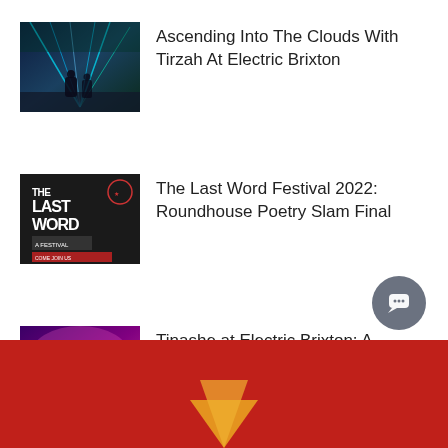[Figure (photo): Concert photo with blue/green laser lights and performers on stage]
Ascending Into The Clouds With Tirzah At Electric Brixton
[Figure (photo): The Last Word Festival 2022 logo - black and white text design with 'A Festival' tagline]
The Last Word Festival 2022: Roundhouse Poetry Slam Final
[Figure (photo): Tinashe performing on stage with purple/pink lighting and audience]
Tinashe at Electric Brixton: A Performance As Diverse As Her Audience
[Figure (photo): Red background with partial golden/yellow graphic element visible at bottom of page]